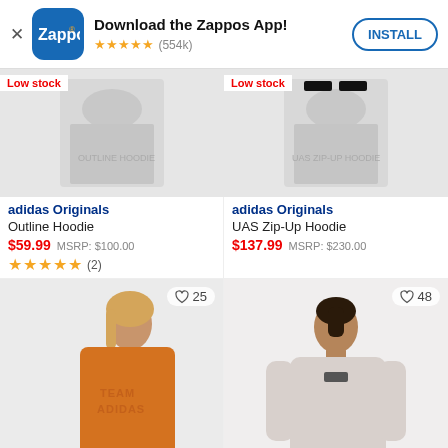[Figure (screenshot): Zappos app install banner with logo, star rating (554k), and INSTALL button]
[Figure (photo): Product photo for adidas Originals Outline Hoodie, Low stock badge, wishlist heart]
adidas Originals
Outline Hoodie
$59.99  MSRP: $100.00
★★★★★ (2)
[Figure (photo): Product photo for adidas Originals UAS Zip-Up Hoodie, Low stock badge]
adidas Originals
UAS Zip-Up Hoodie
$137.99  MSRP: $230.00
[Figure (photo): Woman in orange TEAM ADIDAS jacket, wishlist 25, Low stock bottom badge]
[Figure (photo): Woman in light grey adidas sweatsuit, wishlist 48, Low stock bottom badge]